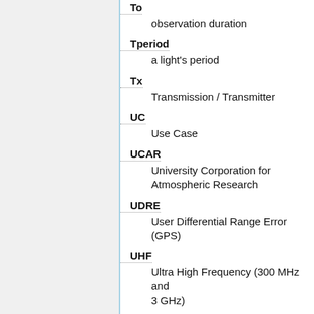To — observation duration
Tperiod — a light's period
Tx — Transmission / Transmitter
UC — Use Case
UCAR — University Corporation for Atmospheric Research
UDRE — User Differential Range Error (GPS)
UHF — Ultra High Frequency (300 MHz and 3 GHz)
UIA — User Interaction Service of the CSS
UK — United Kingdom